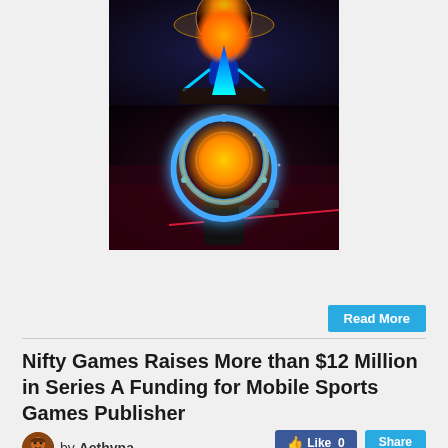[Figure (screenshot): Two video game screenshots showing glowing neon sci-fi characters. Top image: a blue neon robot/character under a large golden glowing orb on a dark stone platform. Bottom image: a dark figure with a large circular glowing helmet with blue ring, set against a red/magenta lit environment.]
Read More
Nifty Games Raises More than $12 Million in Series A Funding for Mobile Sports Games Publisher
by Aethyna
May 29, 2020
Announces Officially Licensed NFL Clash Game for Mobile Devices.